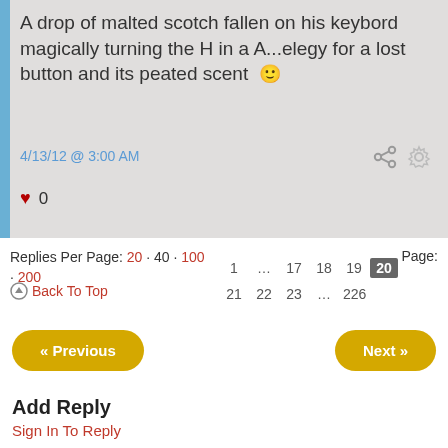A drop of malted scotch fallen on his keybord magically turning the H in a A...elegy for a lost button and its peated scent 🙂
4/13/12 @ 3:00 AM
♥ 0
Replies Per Page: 20 · 40 · 100 · 200
Page: 1 … 17 18 19 20 21 22 23 … 226
⊙ Back To Top
« Previous
Next »
Add Reply
Sign In To Reply